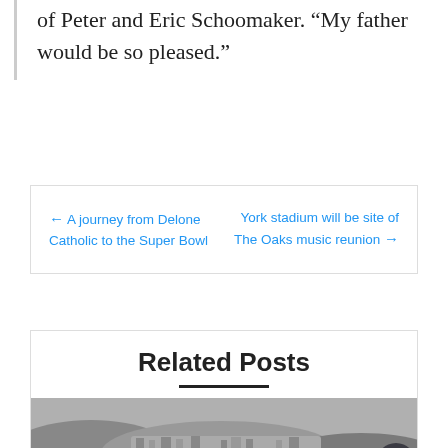of Peter and Eric Schoomaker. “My father would be so pleased.”
← A journey from Delone Catholic to the Super Bowl
York stadium will be site of The Oaks music reunion →
Related Posts
[Figure (photo): Black and white aerial photograph of a town or village nestled among rolling hills and farmland.]